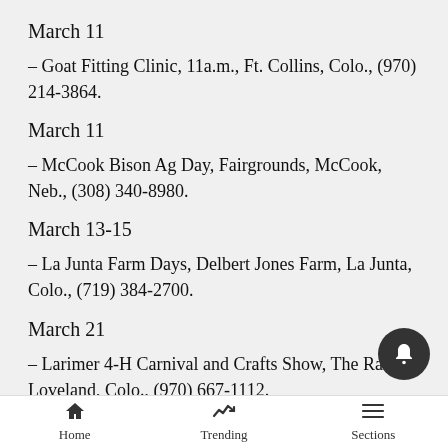March 11
– Goat Fitting Clinic, 11a.m., Ft. Collins, Colo., (970) 214-3864.
March 11
– McCook Bison Ag Day, Fairgrounds, McCook, Neb., (308) 340-8980.
March 13-15
– La Junta Farm Days, Delbert Jones Farm, La Junta, Colo., (719) 384-2700.
March 21
– Larimer 4-H Carnival and Crafts Show, The Ranch, Loveland, Colo., (970) 667-1112.
Home  Trending  Sections